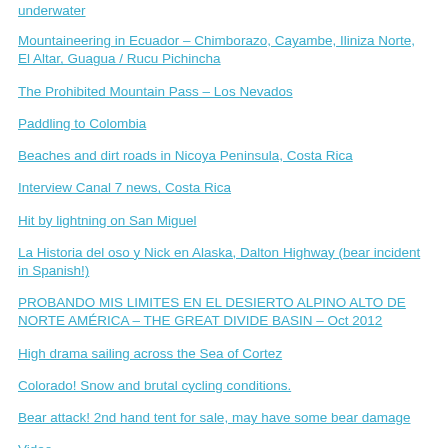underwater
Mountaineering in Ecuador – Chimborazo, Cayambe, Iliniza Norte, El Altar, Guagua / Rucu Pichincha
The Prohibited Mountain Pass – Los Nevados
Paddling to Colombia
Beaches and dirt roads in Nicoya Peninsula, Costa Rica
Interview Canal 7 news, Costa Rica
Hit by lightning on San Miguel
La Historia del oso y Nick en Alaska, Dalton Highway (bear incident in Spanish!)
PROBANDO MIS LIMITES EN EL DESIERTO ALPINO ALTO DE NORTE AMÉRICA – THE GREAT DIVIDE BASIN – Oct 2012
High drama sailing across the Sea of Cortez
Colorado! Snow and brutal cycling conditions.
Bear attack! 2nd hand tent for sale, may have some bear damage
Video